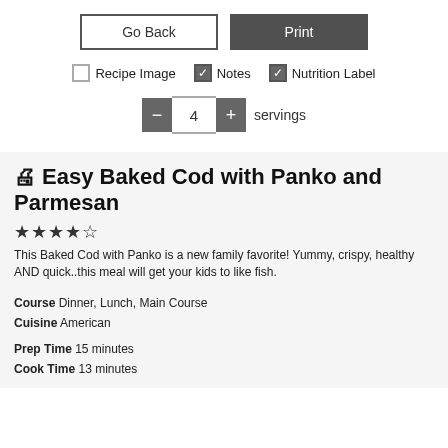[Figure (screenshot): UI controls: Go Back button (outlined) and Print button (dark filled)]
[Figure (screenshot): Checkbox options: Recipe Image (unchecked), Notes (checked), Nutrition Label (checked)]
[Figure (screenshot): Servings stepper control showing minus button, 4, plus button, and 'servings' label]
🖨 Easy Baked Cod with Panko and Parmesan
[Figure (other): 4 out of 5 stars rating]
This Baked Cod with Panko is a new family favorite! Yummy, crispy, healthy AND quick..this meal will get your kids to like fish.
Course  Dinner, Lunch, Main Course
Cuisine  American
Prep Time  15 minutes
Cook Time  13 minutes